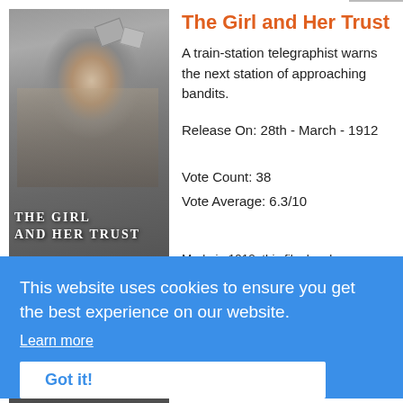[Figure (photo): Black and white film still showing a woman at a telegraph station with books flying, titled 'THE GIRL AND HER TRUST' overlaid at the bottom]
The Girl and Her Trust
A train-station telegraphist warns the next station of approaching bandits.
Release On: 28th - March - 1912
Vote Count: 38
Vote Average: 6.3/10
[Figure (photo): Black and white film still for '1812 год' (1812 god), showing chess pieces or figures in a historical war scene]
Made in 1912, this film has become known as one of the greatest pieces of Soviet cinema. The silent film tells the story of the Patriotic war of 1812 when Napoleon attempted to invade Russia. This joint French and
This website uses cookies to ensure you get the best experience on our website.
Learn more
Got it!